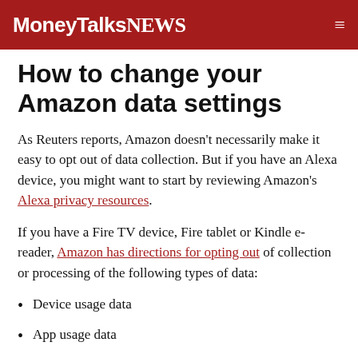MoneyTalksNews
How to change your Amazon data settings
As Reuters reports, Amazon doesn't necessarily make it easy to opt out of data collection. But if you have an Alexa device, you might want to start by reviewing Amazon's Alexa privacy resources.
If you have a Fire TV device, Fire tablet or Kindle e-reader, Amazon has directions for opting out of collection or processing of the following types of data:
Device usage data
App usage data
Over the air viewing data